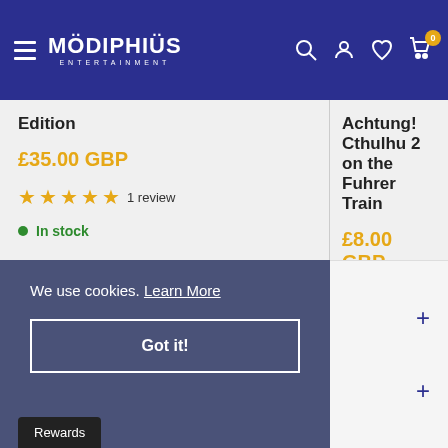[Figure (screenshot): Modiphius Entertainment website header with logo, hamburger menu, search, account, wishlist, and cart icons on dark blue background]
Edition
£35.00 GBP
1 review
In stock
Achtung! Cthulhu 2 on the Fuhrer Train
£8.00 GBP
No revi
In stock
We use cookies.  Learn More
Got it!
Rewards